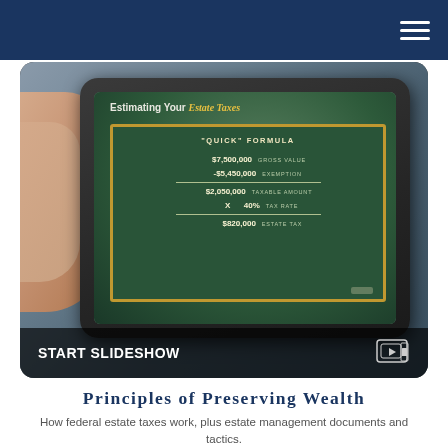[Figure (screenshot): Dark blue navigation header bar with hamburger menu icon (three white horizontal lines) on the right side]
[Figure (photo): A hand holding a tablet device showing a slideshow about 'Estimating Your Estate Taxes' with a chalkboard graphic displaying a Quick Formula: $7,500,000 Gross Value minus $5,450,000 Exemption equals $2,050,000 Taxable Amount times 40% Tax Rate equals $820,000 Estate Tax. A 'START SLIDESHOW' bar appears at the bottom of the image.]
Principles of Preserving Wealth
How federal estate taxes work, plus estate management documents and tactics.